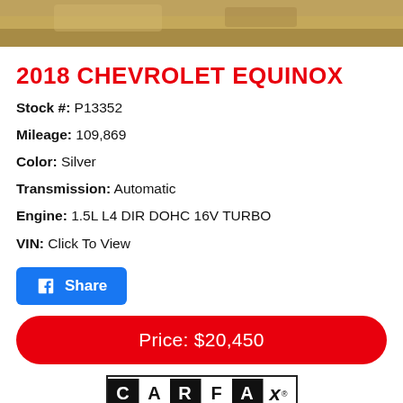[Figure (photo): Photo strip of a 2018 Chevrolet Equinox vehicle, showing outdoor background with sandy/earthy tones]
2018 CHEVROLET EQUINOX
Stock #: P13352
Mileage: 109,869
Color: Silver
Transmission: Automatic
Engine: 1.5L L4 DIR DOHC 16V TURBO
VIN: Click To View
[Figure (other): Facebook Share button (blue rounded rectangle with Facebook icon and 'Share' text)]
Price: $20,450
[Figure (logo): CARFAX 1 OWNER logo badge — two rows of letter tiles, top row: C-A-R-F-A-x (registered trademark), bottom row: 1-O-W-N-E-R with blue '1' tile]